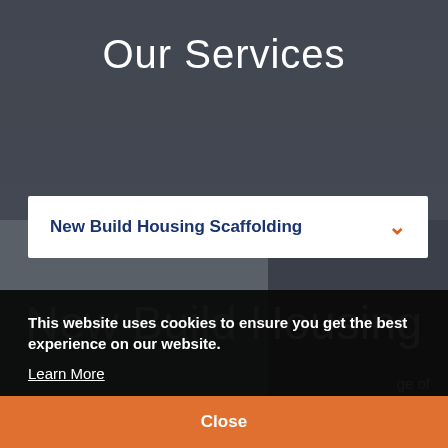Our Services
New Build Housing Scaffolding
New Build Housing
This website uses cookies to ensure you get the best experience on our website.
Learn More
Close